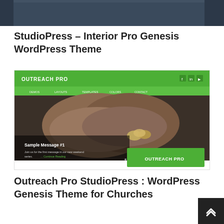[Figure (screenshot): Top portion of a dark-toned webpage screenshot, partially cut off at top]
StudioPress – Interior Pro Genesis WordPress Theme
[Figure (screenshot): Screenshot of 'Outreach Pro' WordPress Genesis Theme showing a green header bar with navigation, a hero image of hands holding coins, a sample message overlay, and an 'OUTREACH PRO' green button in the bottom right]
Outreach Pro StudioPress : WordPress Genesis Theme for Churches